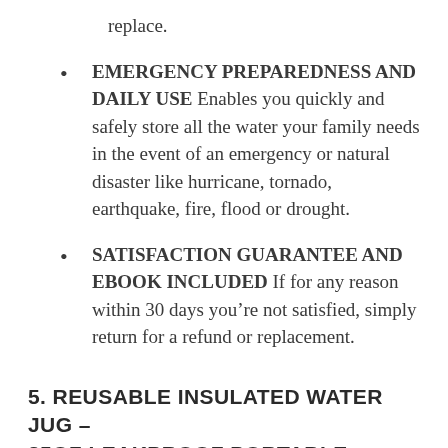replace.
EMERGENCY PREPAREDNESS AND DAILY USE Enables you quickly and safely store all the water your family needs in the event of an emergency or natural disaster like hurricane, tornado, earthquake, fire, flood or drought.
SATISFACTION GUARANTEE AND EBOOK INCLUDED If for any reason within 30 days you’re not satisfied, simply return for a refund or replacement.
5. REUSABLE INSULATED WATER JUG – 85OZ LEAKPROOF PORTABLE WATER JUG – INSULATED WATER JUG WITH SPOUT – INSULATED HALF GALLON